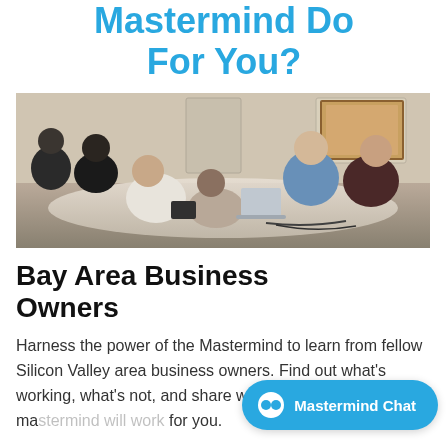Mastermind Do For You?
[Figure (photo): Group of business people sitting around a conference table in a meeting room, some with laptops and devices, engaged in discussion.]
Bay Area Business Owners
Harness the power of the Mastermind to learn from fellow Silicon Valley area business owners. Find out what's working, what's not, and share where you need help. The ma... for you.